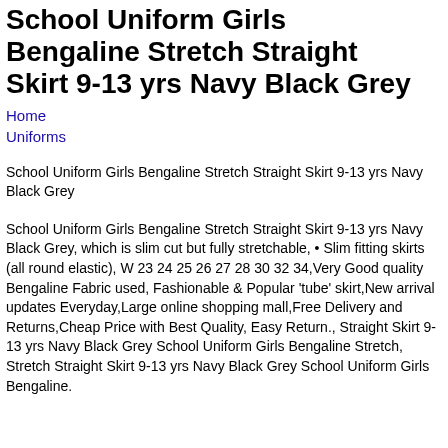School Uniform Girls Bengaline Stretch Straight Skirt 9-13 yrs Navy Black Grey
Home
Uniforms
School Uniform Girls Bengaline Stretch Straight Skirt 9-13 yrs Navy Black Grey
School Uniform Girls Bengaline Stretch Straight Skirt 9-13 yrs Navy Black Grey, which is slim cut but fully stretchable, • Slim fitting skirts (all round elastic), W 23 24 25 26 27 28 30 32 34,Very Good quality Bengaline Fabric used, Fashionable & Popular 'tube' skirt,New arrival updates Everyday,Large online shopping mall,Free Delivery and Returns,Cheap Price with Best Quality, Easy Return., Straight Skirt 9-13 yrs Navy Black Grey School Uniform Girls Bengaline Stretch, Stretch Straight Skirt 9-13 yrs Navy Black Grey School Uniform Girls Bengaline.